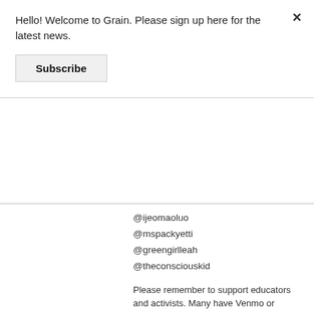Hello! Welcome to Grain. Please sign up here for the latest news.
Subscribe
@ijeomaoluo
@mspackyetti
@greengirlleah
@theconsciouskid
Please remember to support educators and activists. Many have Venmo or Paypal so that you can support their work directly.
Read:
How To Be An Antiracist by Ibram X Kendi
Me and White Supremacy by Layla Saad
So You Want to Talk about Race by Ijeoma Oluo
Why Are All the Black Kids Sitting